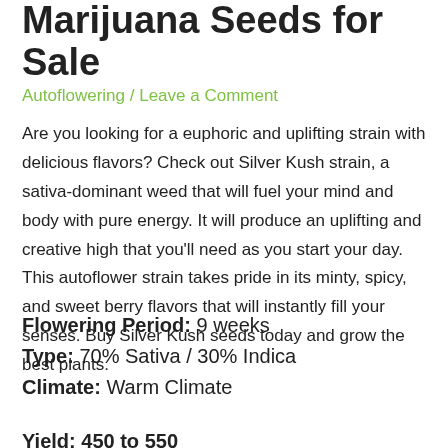Marijuana Seeds for Sale
Autoflowering / Leave a Comment
Are you looking for a euphoric and uplifting strain with delicious flavors? Check out Silver Kush strain, a sativa-dominant weed that will fuel your mind and body with pure energy. It will produce an uplifting and creative high that you'll need as you start your day. This autoflower strain takes pride in its minty, spicy, and sweet berry flavors that will instantly fill your senses. Buy Silver Kush seeds today and grow the best plants.
Flowering Period: 9 weeks
Type: 70% Sativa / 30% Indica
Climate: Warm Climate
Yield: 450 to 550